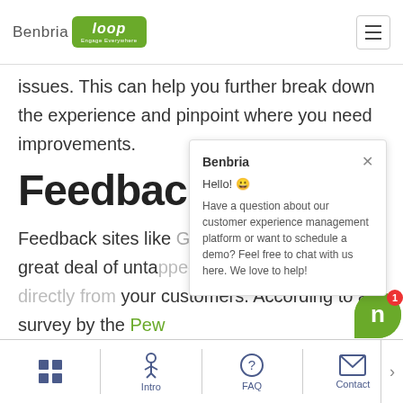Benbria Loop — Engage Everywhere
issues. This can help you further break down the experience and pinpoint where you need improvements.
Feedbac k Sites
Feedback sites like Google, Yelp, and TripAdvisor provide a great deal of untapped insight provided directly from your customers. According to a survey by the Pew
[Figure (screenshot): Benbria chat popup overlay: greeting 'Hello! 😀' with message 'Have a question about our customer experience management platform or want to schedule a demo? Feel free to chat with us here. We love to help!']
Intro | FAQ | Contact